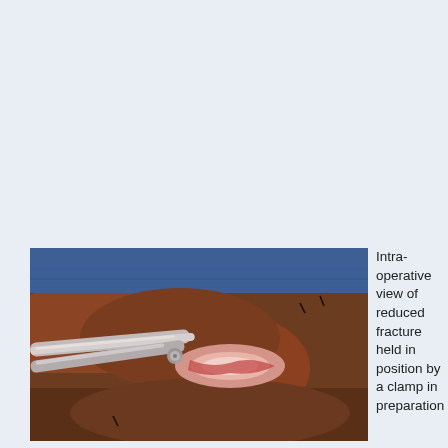[Figure (photo): Intra-operative photograph showing a reduced fracture held in position by a clamp, with surgical scissors visible and a blue surgical drape in the background. The wound is open showing internal tissue.]
Intra-operative view of reduced fracture held in position by a clamp in preparation